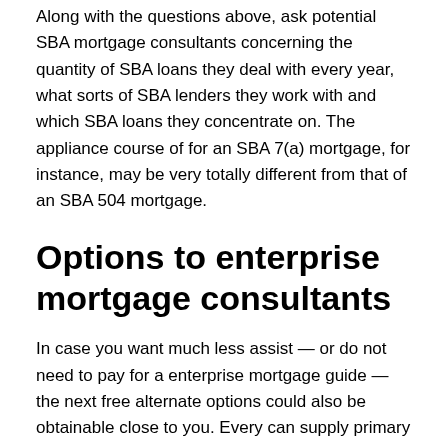Along with the questions above, ask potential SBA mortgage consultants concerning the quantity of SBA loans they deal with every year, what sorts of SBA lenders they work with and which SBA loans they concentrate on. The appliance course of for an SBA 7(a) mortgage, for instance, may be very totally different from that of an SBA 504 mortgage.
Options to enterprise mortgage consultants
In case you want much less assist — or do not need to pay for a enterprise mortgage guide — the next free alternate options could also be obtainable close to you. Every can supply primary help with mortgage purposes, in addition to different strategic providers.
Small Enterprise Improvement Facilities, or SBDCs: The